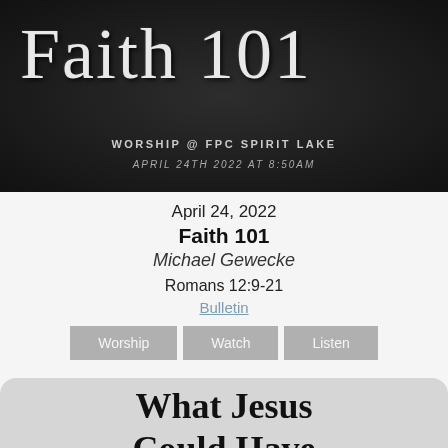[Figure (illustration): Dark chalkboard background with stylized cursive text reading 'Faith 101' in white chalk-style lettering. Below: 'WORSHIP @ FPC SPIRIT LAKE' and 'APRIL 24TH 2022 AT 8:50AM' in white/gray uppercase text.]
April 24, 2022
Faith 101
Michael Gewecke

Romans 12:9-21
Bulletin
Worship   Watch   Listen
[Figure (illustration): Partial view of a crumpled paper background with large bold serif text reading 'What Jesus Could Have']